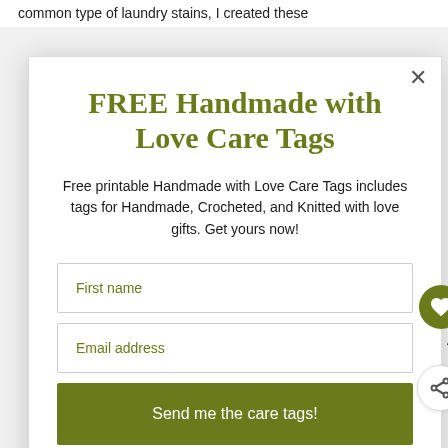common type of laundry stains, I created these
FREE Handmade with Love Care Tags
Free printable Handmade with Love Care Tags includes tags for Handmade, Crocheted, and Knitted with love gifts. Get yours now!
First name
Email address
Send me the care tags!
4
WHAT'S NEXT → Christmas Handmade...